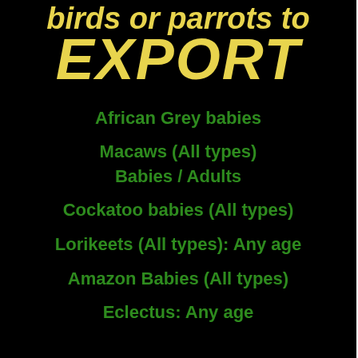birds or parrots to EXPORT
African Grey babies
Macaws (All types) Babies / Adults
Cockatoo babies (All types)
Lorikeets (All types): Any age
Amazon Babies (All types)
Eclectus: Any age